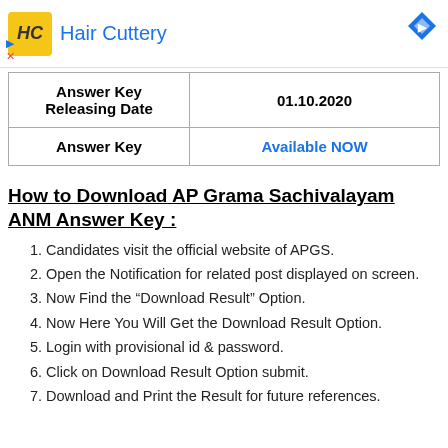[Figure (logo): Hair Cuttery advertisement banner with yellow HC logo and blue brand name]
| Answer Key Releasing Date |  |
| --- | --- |
| Answer Key Releasing Date | 01.10.2020 |
| Answer Key | Available NOW |
How to Download AP Grama Sachivalayam ANM Answer Key :
Candidates visit the official website of APGS.
Open the Notification for related post displayed on screen.
Now Find the “Download Result” Option.
Now Here You Will Get the Download Result Option.
Login with provisional id & password.
Click on Download Result Option submit.
Download and Print the Result for future references.